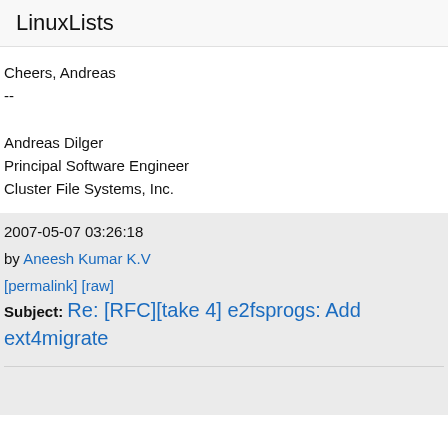LinuxLists
Cheers, Andreas
--
Andreas Dilger
Principal Software Engineer
Cluster File Systems, Inc.
2007-05-07 03:26:18
by Aneesh Kumar K.V
[permalink] [raw]
Subject: Re: [RFC][take 4] e2fsprogs: Add ext4migrate